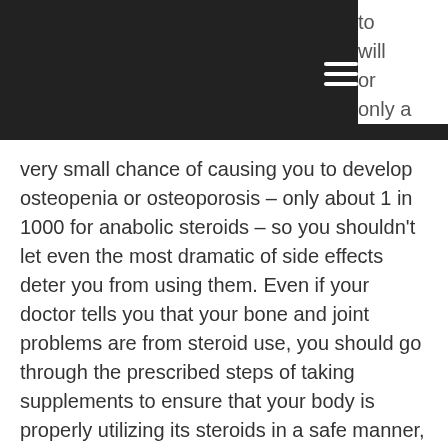to will or only a
very small chance of causing you to develop osteopenia or osteoporosis – only about 1 in 1000 for anabolic steroids – so you shouldn't let even the most dramatic of side effects deter you from using them. Even if your doctor tells you that your bone and joint problems are from steroid use, you should go through the prescribed steps of taking supplements to ensure that your body is properly utilizing its steroids in a safe manner, steroid side effects mnemonic cushingoid.
Side Effects from Over-Installing a Testosterone Enhancer In Your Body
As long as you're doing what they tell you to do, then your body is set up to handle your